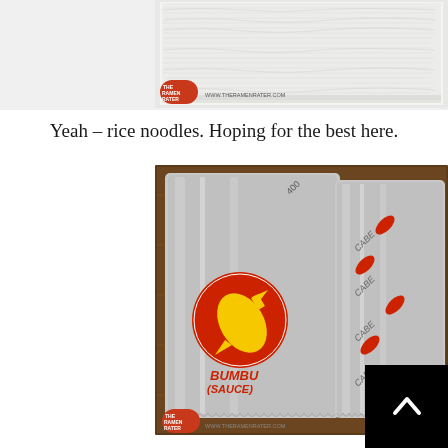[Figure (photo): Photo of white rice noodles in a compressed block/cake form on a white surface, with a small TheRamenRater.com watermark/logo in the bottom left corner.]
Yeah – rice noodles. Hoping for the best here.
[Figure (photo): Photo of two metallic/silver seasoning packets on a wooden surface. The left packet shows a cartoon bomb logo with a yellow bomb graphic on a red circle, labeled 'BUMBU (SAUCE)'. The right packet has chili pepper graphics. Both packets bear a TheRamenRater.com watermark/logo.]